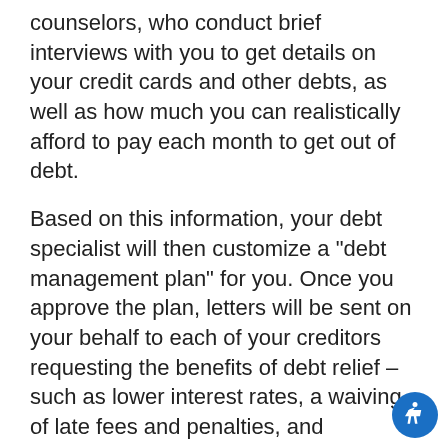counselors, who conduct brief interviews with you to get details on your credit cards and other debts, as well as how much you can realistically afford to pay each month to get out of debt.
Based on this information, your debt specialist will then customize a "debt management plan" for you. Once you approve the plan, letters will be sent on your behalf to each of your creditors requesting the benefits of debt relief – such as lower interest rates, a waiving of late fees and penalties, and generally more favorable repayment terms. Those creditors who accept the proposals are then added to the debt consolidation or debt management program. For those that do not accept debt relief proposals, you are still obligated to live up to the original terms of your cardholder agreement.
It's important to understand that, just as no two debt situations are exactly alike, no single debt